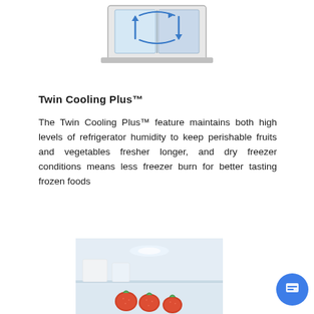[Figure (illustration): Diagram of a refrigerator with blue airflow arrows indicating Twin Cooling Plus system, shown as a white/grey box with circulation arrows inside]
Twin Cooling Plus™
The Twin Cooling Plus™ feature maintains both high levels of refrigerator humidity to keep perishable fruits and vegetables fresher longer, and dry freezer conditions means less freezer burn for better tasting frozen foods
[Figure (photo): Interior photo of a refrigerator shelf showing strawberries and other items in a clean white refrigerator interior]